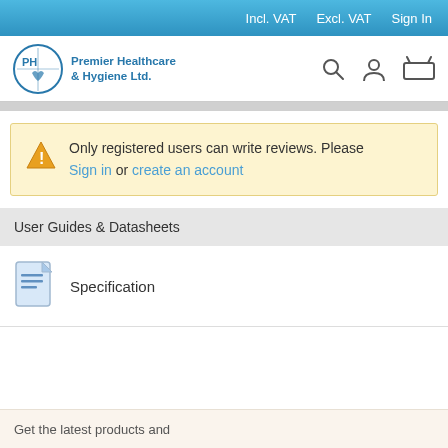Incl. VAT   Excl. VAT   Sign In
[Figure (logo): Premier Healthcare & Hygiene Ltd. logo with stylized PH icon in blue]
Only registered users can write reviews. Please Sign in or create an account
User Guides & Datasheets
Specification
Get the latest products and